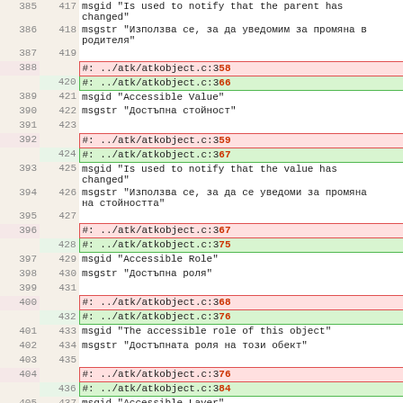| Line Old | Line New | Content |
| --- | --- | --- |
| 385 | 417 | msgid "Is used to notify that the parent has changed" |
| 386 | 418 | msgstr "Използва се, за да уведомим за промяна в родителя" |
| 387 | 419 |  |
| 388 |  | #: ../atk/atkobject.c:358 |
|  | 420 | #: ../atk/atkobject.c:366 |
| 389 | 421 | msgid "Accessible Value" |
| 390 | 422 | msgstr "Достъпна стойност" |
| 391 | 423 |  |
| 392 |  | #: ../atk/atkobject.c:359 |
|  | 424 | #: ../atk/atkobject.c:367 |
| 393 | 425 | msgid "Is used to notify that the value has changed" |
| 394 | 426 | msgstr "Използва се, за да се уведоми за промяна на стойността" |
| 395 | 427 |  |
| 396 |  | #: ../atk/atkobject.c:367 |
|  | 428 | #: ../atk/atkobject.c:375 |
| 397 | 429 | msgid "Accessible Role" |
| 398 | 430 | msgstr "Достъпна роля" |
| 399 | 431 |  |
| 400 |  | #: ../atk/atkobject.c:368 |
|  | 432 | #: ../atk/atkobject.c:376 |
| 401 | 433 | msgid "The accessible role of this object" |
| 402 | 434 | msgstr "Достъпната роля на този обект" |
| 403 | 435 |  |
| 404 |  | #: ../atk/atkobject.c:376 |
|  | 436 | #: ../atk/atkobject.c:384 |
| 405 | 437 | msgid "Accessible Layer" |
| 406 | 438 | msgstr "Достъпен слой" |
| 407 | 439 |  |
| 408 |  | #: ../atk/atkobject.c:377 |